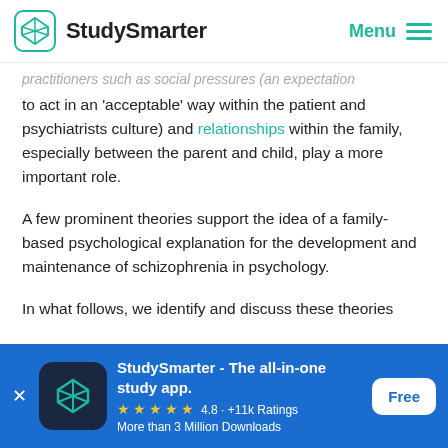StudySmarter   Menu
practitioners such as social pressures (an expectation to act in an 'acceptable' way within the patient and psychiatrists culture) and relationships within the family, especially between the parent and child, play a more important role.
A few prominent theories support the idea of a family-based psychological explanation for the development and maintenance of schizophrenia in psychology.
In what follows, we identify and discuss these theories
[Figure (screenshot): StudySmarter app advertisement banner: 'StudySmarter - The all-in-one study app.' with 4.8 star rating, +11k Ratings, More than 3 Million Downloads, and a Free button]